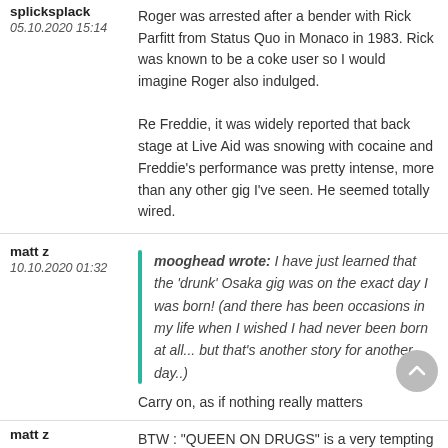splicksplack
05.10.2020 15:14

Roger was arrested after a bender with Rick Parfitt from Status Quo in Monaco in 1983. Rick was known to be a coke user so I would imagine Roger also indulged.
Re Freddie, it was widely reported that back stage at Live Aid was snowing with cocaine and Freddie's performance was pretty intense, more than any other gig I've seen. He seemed totally wired.
matt z
10.10.2020 01:32

mooghead wrote: I have just learned that the 'drunk' Osaka gig was on the exact day I was born! (and there has been occasions in my life when I wished I had never been born at all... but that's another story for another day..)

Carry on, as if nothing really matters
matt z

BTW : "QUEEN ON DRUGS" is a very tempting title for a new remix album done by 20 or so